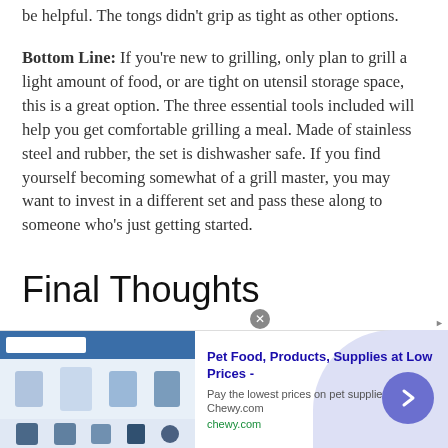be helpful. The tongs didn't grip as tight as other options.
Bottom Line: If you're new to grilling, only plan to grill a light amount of food, or are tight on utensil storage space, this is a great option. The three essential tools included will help you get comfortable grilling a meal. Made of stainless steel and rubber, the set is dishwasher safe. If you find yourself becoming somewhat of a grill master, you may want to invest in a different set and pass these along to someone who's just getting started.
Final Thoughts
When cooking on the grill, nothing makes the job more
[Figure (screenshot): Advertisement banner for Chewy.com pet food and supplies with product images, bold blue title text reading 'Pet Food, Products, Supplies at Low Prices -', description 'Pay the lowest prices on pet supplies at Chewy.com', URL 'chewy.com', a close button, and a purple arrow navigation button.]